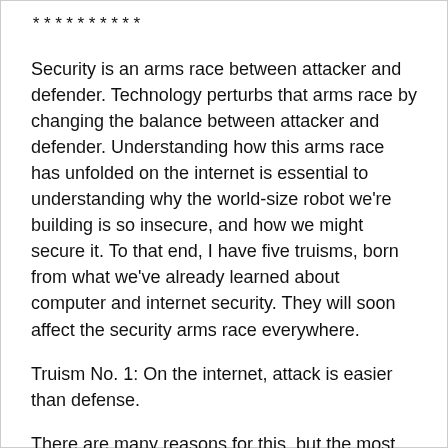**********
Security is an arms race between attacker and defender. Technology perturbs that arms race by changing the balance between attacker and defender. Understanding how this arms race has unfolded on the internet is essential to understanding why the world-size robot we're building is so insecure, and how we might secure it. To that end, I have five truisms, born from what we've already learned about computer and internet security. They will soon affect the security arms race everywhere.
Truism No. 1: On the internet, attack is easier than defense.
There are many reasons for this, but the most important is the complexity of these systems. More complexity means more people involved, more parts, more interactions, more mistakes in the design and development process, more of everything where hidden insecurities can be found. Computer-security experts like to speak about the attack surface of a system: all the possible points an attacker might target and that must be secured. A complex system means a large attack surface. The defender has to secure the entire